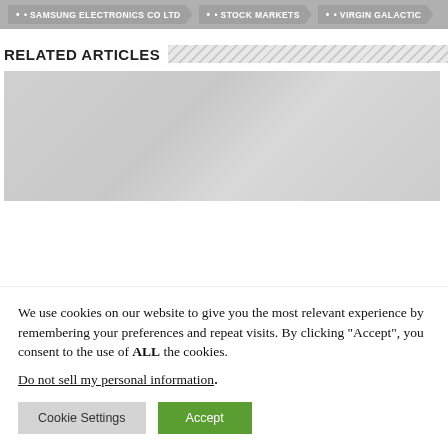SAMSUNG ELECTRONICS CO LTD · STOCK MARKETS · VIRGIN GALACTIC
RELATED ARTICLES
[Figure (photo): Faded light gray image placeholder for a related article thumbnail]
We use cookies on our website to give you the most relevant experience by remembering your preferences and repeat visits. By clicking “Accept”, you consent to the use of ALL the cookies.
Do not sell my personal information.
Cookie Settings  Accept